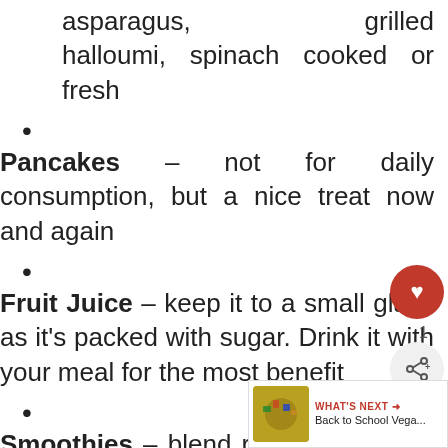asparagus, grilled halloumi, spinach cooked or fresh
Pancakes - not for daily consumption, but a nice treat now and again
Fruit Juice - keep it to a small glass as it's packed with sugar. Drink it with your meal for the most benefit
Smoothies - blend rather than juice smoothies and remember to vegetables as w... Carrots, spinach, kale and